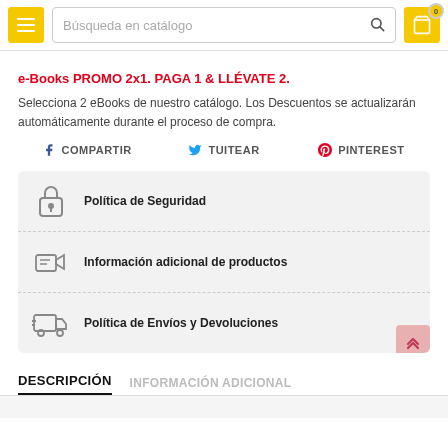Búsqueda en catálogo
e-Books PROMO 2x1. PAGA 1 & LLÉVATE 2.
Selecciona 2 eBooks de nuestro catálogo. Los Descuentos se actualizarán automáticamente durante el proceso de compra.
COMPARTIR   TUITEAR   PINTEREST
Política de Seguridad
Información adicional de productos
Política de Envíos y Devoluciones
DESCRIPCIÓN
INFORMACIÓN ADICIONAL